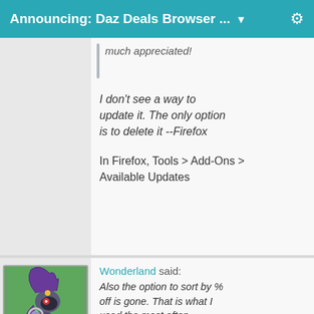Announcing: Daz Deals Browser ... ▼
much appreciated!
I don't see a way to update it. The only option is to delete it --Firefox
In Firefox, Tools > Add-Ons > Available Updates
[Figure (illustration): Avatar of user arbee999: cartoon pony character with purple hair holding a magnifying glass on a green background]
arbee999
Wonderland said: Also the option to sort by % off is gone. That is what I used the most often...